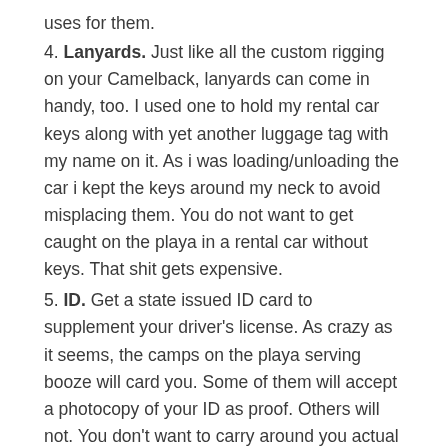uses for them.
4. Lanyards. Just like all the custom rigging on your Camelback, lanyards can come in handy, too. I used one to hold my rental car keys along with yet another luggage tag with my name on it. As i was loading/unloading the car i kept the keys around my neck to avoid misplacing them. You do not want to get caught on the playa in a rental car without keys. That shit gets expensive.
5. ID. Get a state issued ID card to supplement your driver's license. As crazy as it seems, the camps on the playa serving booze will card you. Some of them will accept a photocopy of your ID as proof. Others will not. You don't want to carry around you actual license (in case you lose it and are needing it to fly home, etc). Luckily the majority of the bars I went to accepted my photocopy (which was taped to my cup